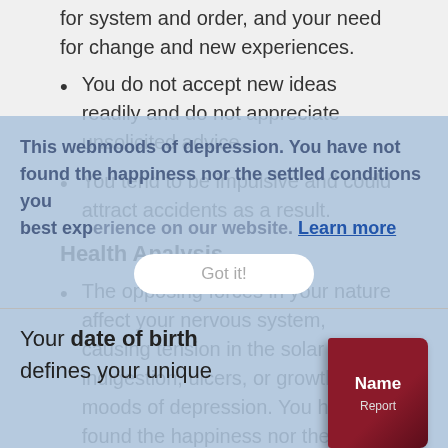for system and order, and your need for change and new experiences.
You do not accept new ideas readily and do not appreciate unsolicited advice.
You tend to be impulsive and could attract accidents as a result.
Health Analysis
The opposing forces in your nature affect your nervous system, causing tension in the solar plexus, indigestion, ulcers, or growths, and moods of depression. You have not found the happiness nor the settled conditions you desire.
This web... best experience on our website. Learn more
Got it!
Your date of birth defines your unique
[Figure (illustration): Book cover with 'Name Report' text on dark red background]